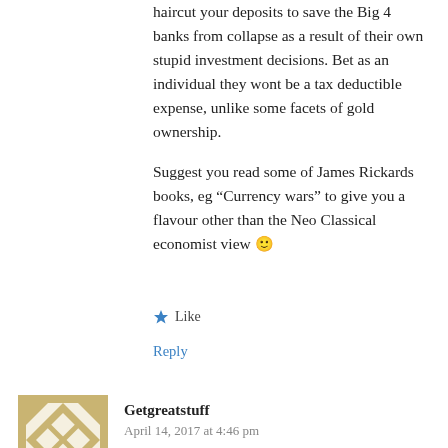haircut your deposits to save the Big 4 banks from collapse as a result of their own stupid investment decisions. Bet as an individual they wont be a tax deductible expense, unlike some facets of gold ownership.
Suggest you read some of James Rickards books, eg “Currency wars” to give you a flavour other than the Neo Classical economist view 🙂
Like
Reply
[Figure (other): Avatar image for user Getgreatstuff — decorative geometric pattern in gold and white]
Getgreatstuff
April 14, 2017 at 4:46 pm